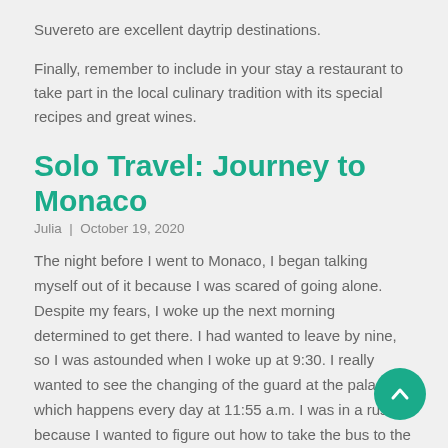Suvereto are excellent daytrip destinations.
Finally, remember to include in your stay a restaurant to take part in the local culinary tradition with its special recipes and great wines.
Solo Travel: Journey to Monaco
Julia | October 19, 2020
The night before I went to Monaco, I began talking myself out of it because I was scared of going alone. Despite my fears, I woke up the next morning determined to get there. I had wanted to leave by nine, so I was astounded when I woke up at 9:30. I really wanted to see the changing of the guard at the palace, which happens every day at 11:55 a.m. I was in a rush because I wanted to figure out how to take the bus to the I still had to buy a ticket, and I wasn't sure when a train would leave.